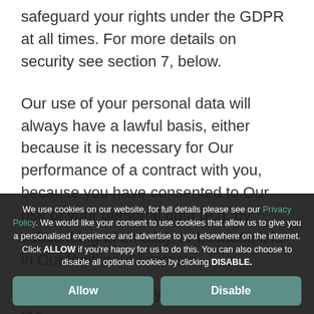safeguard your rights under the GDPR at all times. For more details on security see section 7, below.
Our use of your personal data will always have a lawful basis, either because it is necessary for Our performance of a contract with you, because you have consented to Our use of your personal data (e.g. by subscribing to emails), or because it is in Our legitimate interests.
Specifically, We may use your data for the
We use cookies on our website, for full details please see our Privacy Policy. We would like your consent to use cookies that allow us to give you a personalised experience and advertise to you elsewhere on the internet. Click ALLOW if you're happy for us to do this. You can also choose to disable all optional cookies by clicking DISABLE.